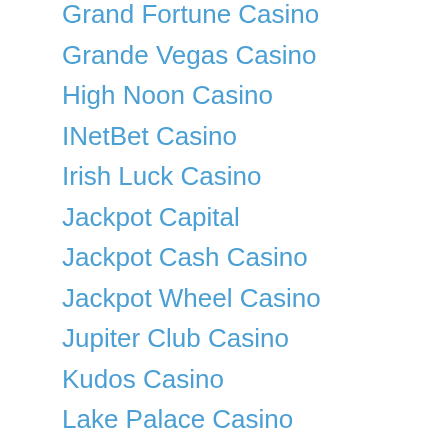Grand Fortune Casino
Grande Vegas Casino
High Noon Casino
INetBet Casino
Irish Luck Casino
Jackpot Capital
Jackpot Cash Casino
Jackpot Wheel Casino
Jupiter Club Casino
Kudos Casino
Lake Palace Casino
Liberty Slots Casino
Lincoln Casino
Lotus Asia Casino